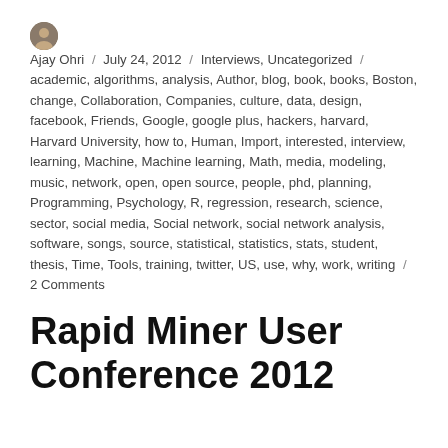Ajay Ohri / July 24, 2012 / Interviews, Uncategorized / academic, algorithms, analysis, Author, blog, book, books, Boston, change, Collaboration, Companies, culture, data, design, facebook, Friends, Google, google plus, hackers, harvard, Harvard University, how to, Human, Import, interested, interview, learning, Machine, Machine learning, Math, media, modeling, music, network, open, open source, people, phd, planning, Programming, Psychology, R, regression, research, science, sector, social media, Social network, social network analysis, software, songs, source, statistical, statistics, stats, student, thesis, Time, Tools, training, twitter, US, use, why, work, writing / 2 Comments
Rapid Miner User Conference 2012